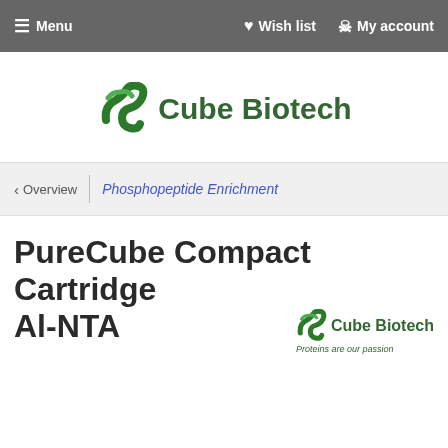Menu  Wish list  My account
[Figure (logo): Cube Biotech logo with green stylized S-shaped icon and green text 'Cube Biotech']
< Overview | Phosphopeptide Enrichment
PureCube Compact Cartridge Al-NTA
[Figure (logo): Small Cube Biotech logo with tagline 'Proteins are our passion']